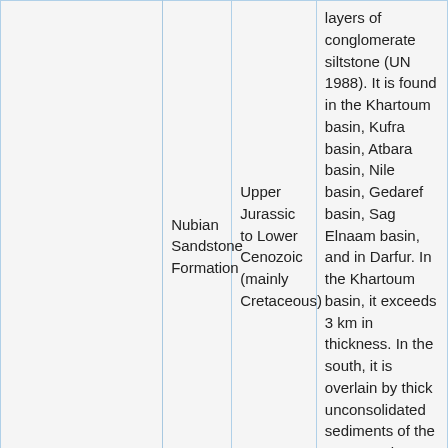|  |  | Age | Description |
| --- | --- | --- | --- |
|  | Nubian Sandstone Formation | Upper Jurassic to Lower Cenozoic (mainly Cretaceous) | layers of conglomerate siltstone (UN 1988). It is found in the Khartoum basin, Kufra basin, Atbara basin, Nile basin, Gedaref basin, Sag Elnaam basin, and in Darfur. In the Khartoum basin, it exceeds 3 km in thickness. In the south, it is overlain by thick unconsolidated sediments of the Um Ruwaba Formation, wh... |